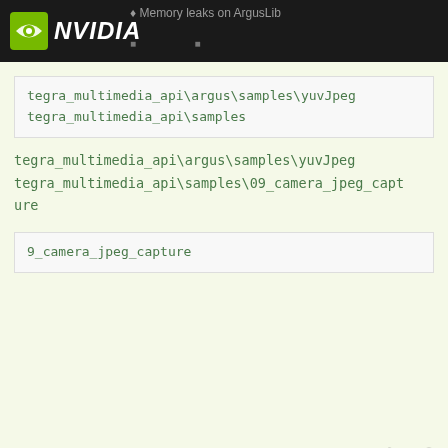NVIDIA — Memory leaks on ArgusLib
tegra_multimedia_api\argus\samples\yuvJpeg
tegra_multimedia_api\samples
tegra_multimedia_api\argus\samples\yuvJpeg
tegra_multimedia_api\samples\09_camera_jpeg_capture
9_camera_jpeg_capture
✓ Solution
9 DAYS LATER
pavlos.stavrou
Sep 13 '18
Hello